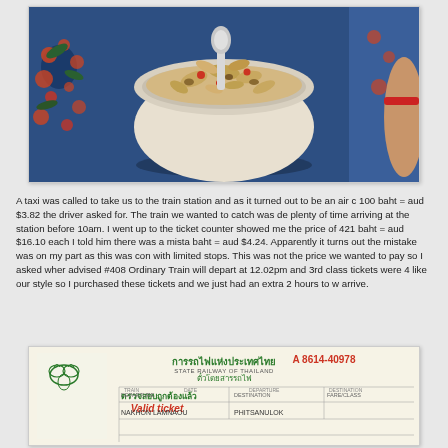[Figure (photo): Top-down photo of a bowl of muesli/granola with a spoon, placed on a blue floral patterned fabric. A person's arm with a red bracelet is visible at the right edge.]
A taxi was called to take us to the train station and as it turned out to be an air c 100 baht = aud $3.82 the driver asked for. The train we wanted to catch was de plenty of time arriving at the station before 10am. I went up to the ticket counter showed me the price of 421 baht = aud $16.10 each I told him there was a mista baht = aud $4.24. Apparently it turns out the mistake was on my part as this was con with limited stops. This was not the price we wanted to pay so I asked wher advised #408 Ordinary Train will depart at 12.02pm and 3rd class tickets were 4 like our style so I purchased these tickets and we just had an extra 2 hours to w arrive.
[Figure (photo): Photo of a Thai train ticket from the State Railway of Thailand (การรถไฟแห่งประเทศไทย). Ticket number A 8614-40978. Shows Thai text including 'ตรวจสอบถูกต้องแล้ว' and 'Valid ticket'. Destination shown as NAKHON LAMNAOU to PHITSANULOK.]